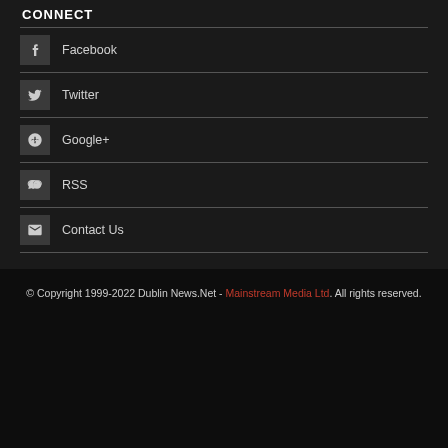CONNECT
Facebook
Twitter
Google+
RSS
Contact Us
© Copyright 1999-2022 Dublin News.Net - Mainstream Media Ltd. All rights reserved.